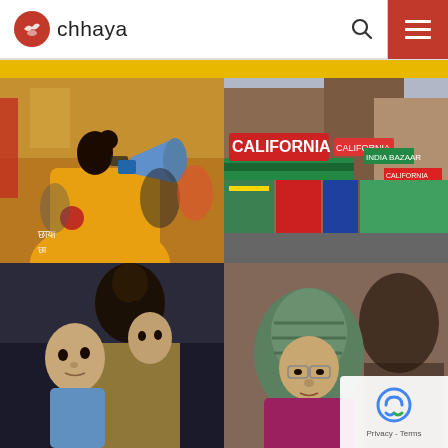[Figure (logo): Chhaya organization logo with red circle icon and text 'chhaya']
[Figure (photo): Navigation bar with search icon and red hamburger menu button]
[Figure (photo): Yellow decorative band below header]
[Figure (photo): Four-photo grid: top-left shows man in yellow Chhaya t-shirt speaking through megaphone at street event; top-right shows colorful storefronts on a street with 'California' sign; bottom-left shows woman holding young child looking at camera; bottom-right shows elderly woman wearing hijab with glasses looking down, with a younger person beside her. reCAPTCHA badge overlaid on bottom-right corner with 'Privacy - Terms' text.]